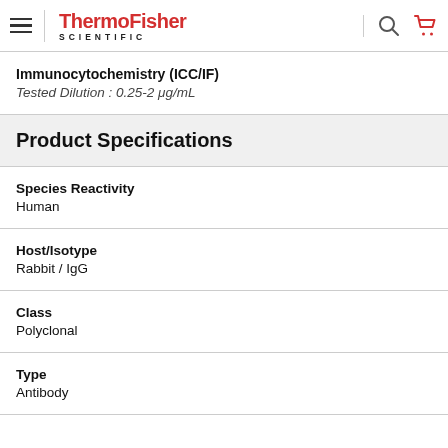ThermoFisher SCIENTIFIC
Immunocytochemistry (ICC/IF)
Tested Dilution : 0.25-2 μg/mL
Product Specifications
Species Reactivity
Human
Host/Isotype
Rabbit / IgG
Class
Polyclonal
Type
Antibody